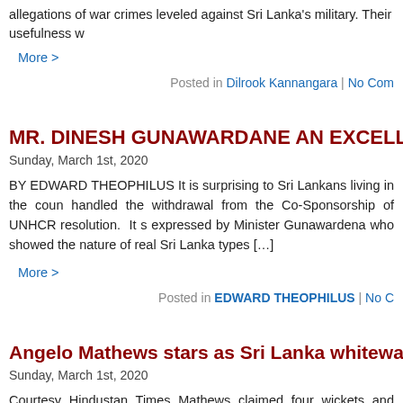allegations of war crimes leveled against Sri Lanka's military. Their usefulness w...
More >
Posted in Dilrook Kannangara | No Com...
MR. DINESH GUNAWARDANE AN EXCELLENT FO...
Sunday, March 1st, 2020
BY EDWARD THEOPHILUS It is surprising to Sri Lankans living in the coun... handled the withdrawal from the Co-Sponsorship of UNHCR resolution. It s... expressed by Minister Gunawardena who showed the nature of real Sri Lanka... types [...]
More >
Posted in EDWARD THEOPHILUS | No C...
Angelo Mathews stars as Sri Lanka whitewash We...
Sunday, March 1st, 2020
Courtesy Hindustan Times Mathews claimed four wickets and denied West Ind... to 301 for nine in their chase of 308 in Pallekele. Angelo Mathews held his nerve... run win over West Indies in the third one-day [...]
More >